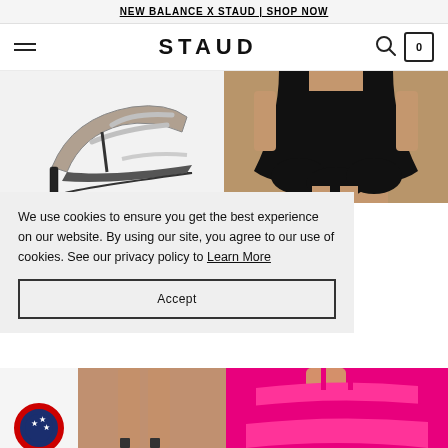NEW BALANCE X STAUD | SHOP NOW
STAUD
[Figure (photo): Rhinestone strappy high heel sandal in grey/black on light grey background]
[Figure (photo): Model wearing a black bubble/balloon mini dress on a tan/brown background]
RHINESTONE NADJA HEEL BLACK
SHOP THE DRESS
We use cookies to ensure you get the best experience on our website. By using our site, you agree to our use of cookies. See our privacy policy to Learn More
Accept
[Figure (photo): Flag icon with stars and stripes (USA)]
[Figure (photo): Model legs in heels on tan background]
[Figure (photo): Model in bright pink ruffled dress]